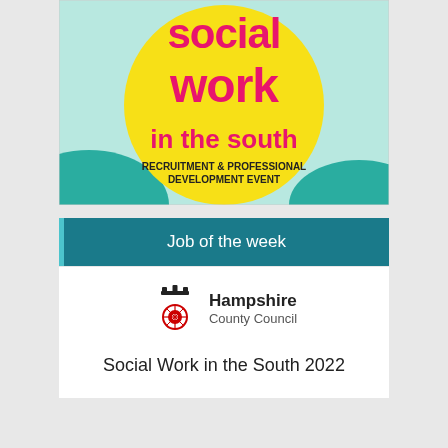[Figure (illustration): Colorful poster for 'Social Work in the South - Recruitment & Professional Development Event'. Features large pink bubbly text on a yellow circle with teal/aqua background waves.]
Job of the week
[Figure (logo): Hampshire County Council logo with crown and rose emblem]
Social Work in the South 2022